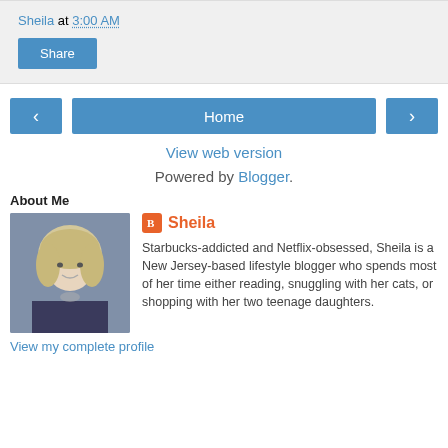Sheila at 3:00 AM
Share
Home
View web version
Powered by Blogger.
About Me
[Figure (photo): Profile photo of Sheila, a blonde woman]
Sheila
Starbucks-addicted and Netflix-obsessed, Sheila is a New Jersey-based lifestyle blogger who spends most of her time either reading, snuggling with her cats, or shopping with her two teenage daughters.
View my complete profile